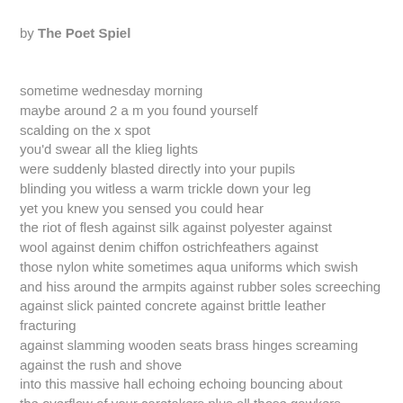by The Poet Spiel
sometime wednesday morning
maybe around 2 a m you found yourself
scalding on the x spot
you'd swear all the klieg lights
were suddenly blasted directly into your pupils
blinding you witless a warm trickle down your leg
yet you knew you sensed you could hear
the riot of flesh against silk against polyester against
wool against denim chiffon ostrichfeathers against
those nylon white sometimes aqua uniforms which swish
and hiss around the armpits against rubber soles screeching
against slick painted concrete against brittle leather fracturing
against slamming wooden seats brass hinges screaming
against the rush and shove
into this massive hall echoing echoing bouncing about
the overflow of your caretakers plus all those gawkers
come for staring wanting their money's worth